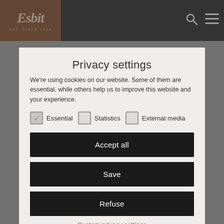[Figure (logo): Esbit logo on dark brown/orange background square in top-left nav bar]
Privacy settings
We're using cookies on our website. Some of them are essential, while others help us to improve this website and your experience.
Essential (checked), Statistics (unchecked), External media (unchecked)
Accept all
Save
Refuse
Custom privacy settings